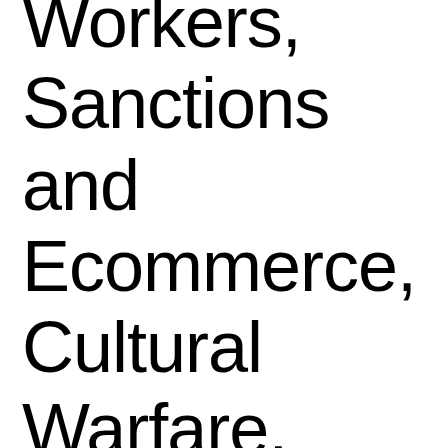Workers, Sanctions and Ecommerce, Cultural Warfare, More: Ukraine Update, May